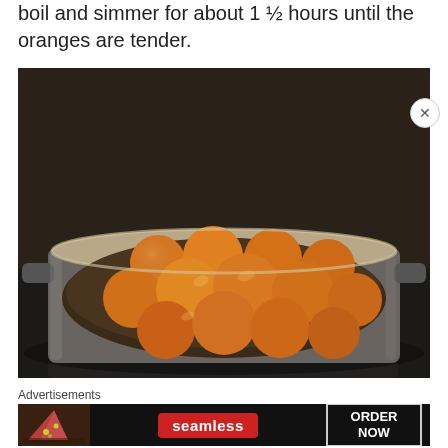boil and simmer for about 1 ½ hours until the oranges are tender.
[Figure (photo): A large stainless steel pot filled with whole oranges simmering in water, placed on a stovetop burner.]
Advertisements
[Figure (photo): Seamless food delivery advertisement banner showing pizza slices on the left, a red Seamless logo in the center, and an 'ORDER NOW' button on the right, all on a dark background.]